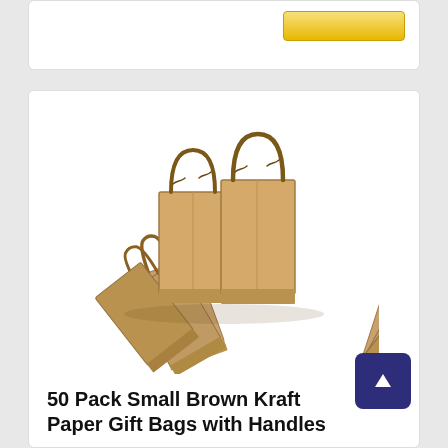[Figure (photo): Stack of small brown kraft paper gift bags with twisted handles, fanned out showing multiple bags in a group.]
50 Pack Small Brown Kraft Paper Gift Bags with Handles